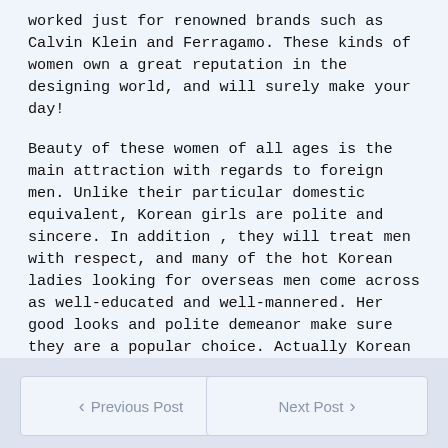worked just for renowned brands such as Calvin Klein and Ferragamo. These kinds of women own a great reputation in the designing world, and will surely make your day!
Beauty of these women of all ages is the main attraction with regards to foreign men. Unlike their particular domestic equivalent, Korean girls are polite and sincere. In addition , they will treat men with respect, and many of the hot Korean ladies looking for overseas men come across as well-educated and well-mannered. Her good looks and polite demeanor make sure they are a popular choice. Actually Korean males dream of marrying a hot Korean woman.
< Previous Post    Next Post >